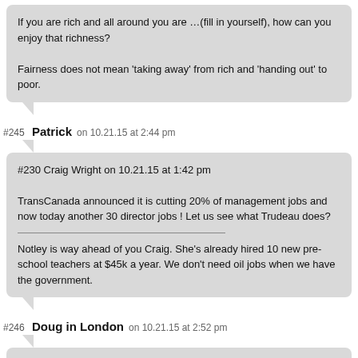If you are rich and all around you are …(fill in yourself), how can you enjoy that richness?

Fairness does not mean 'taking away' from rich and 'handing out' to poor.
#245 Patrick on 10.21.15 at 2:44 pm
#230 Craig Wright on 10.21.15 at 1:42 pm

TransCanada announced it is cutting 20% of management jobs and now today another 30 director jobs ! Let us see what Trudeau does?

Notley is way ahead of you Craig. She's already hired 10 new pre-school teachers at $45k a year. We don't need oil jobs when we have the government.
#246 Doug in London on 10.21.15 at 2:52 pm
@Hope & Change (Canada), post #227: